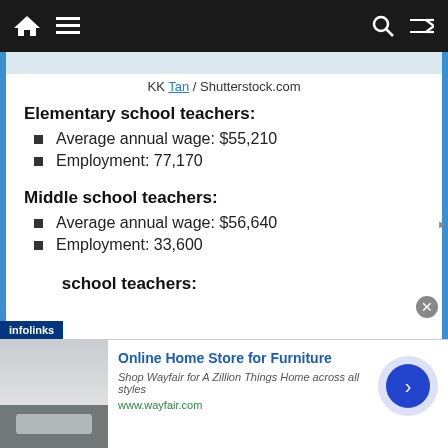Navigation bar with home, menu, search, and shuffle icons
KK Tan / Shutterstock.com
Elementary school teachers:
Average annual wage: $55,210
Employment: 77,170
Middle school teachers:
Average annual wage: $56,640
Employment: 33,600
… school teachers: